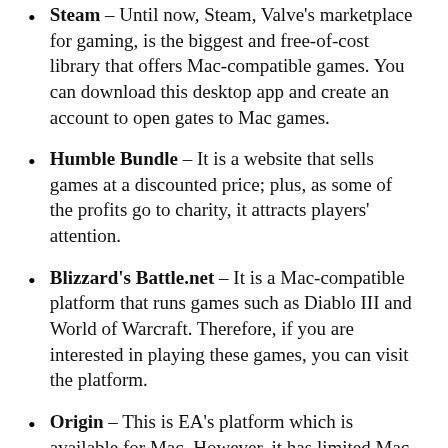Steam – Until now, Steam, Valve's marketplace for gaming, is the biggest and free-of-cost library that offers Mac-compatible games. You can download this desktop app and create an account to open gates to Mac games.
Humble Bundle – It is a website that sells games at a discounted price; plus, as some of the profits go to charity, it attracts players' attention.
Blizzard's Battle.net – It is a Mac-compatible platform that runs games such as Diablo III and World of Warcraft. Therefore, if you are interested in playing these games, you can visit the platform.
Origin – This is EA's platform which is available for Mac. However, it has limited Mac compatible games, so you will not have too many options.
Bonus Tip: Run Windows OS by